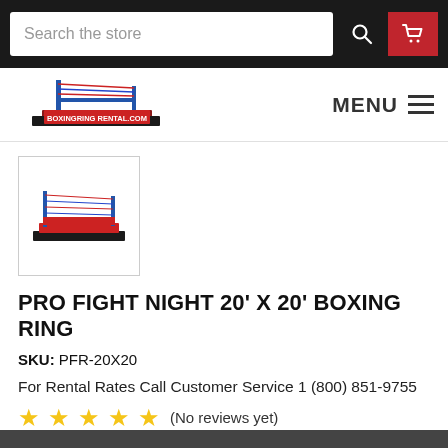Search the store
[Figure (logo): BoxingRing Rental .com logo with boxing ring illustration]
[Figure (photo): Thumbnail image of a pro boxing ring with red canvas and blue ropes]
PRO FIGHT NIGHT 20' X 20' BOXING RING
SKU: PFR-20X20
For Rental Rates Call Customer Service 1 (800) 851-9755
★★★★★ (No reviews yet)
Write a Review